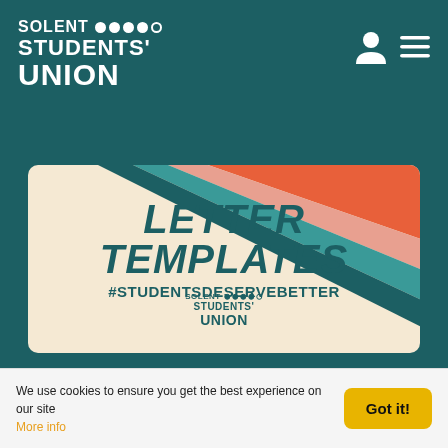SOLENT STUDENTS' UNION
[Figure (logo): Solent Students' Union logo with dots icon — white text on dark teal background, top left navigation bar with user icon and hamburger menu on right]
[Figure (infographic): Promotional card with cream/beige background and diagonal colored stripes (orange, pink, teal, dark teal) in upper right corner. Contains Solent Students' Union logo and bold italic text reading LETTER TEMPLATES #STUDENTSDESERVEBETTER]
We use cookies to ensure you get the best experience on our site More info
Got it!